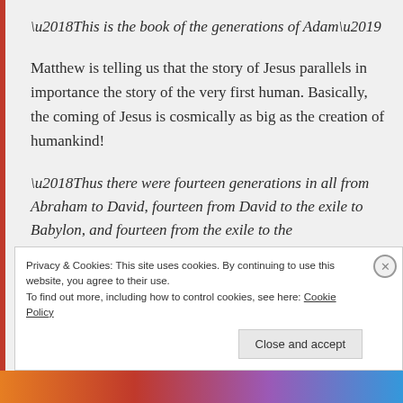‘This is the book of the generations of Adam’
Matthew is telling us that the story of Jesus parallels in importance the story of the very first human. Basically, the coming of Jesus is cosmically as big as the creation of humankind!
‘Thus there were fourteen generations in all from Abraham to David, fourteen from David to the exile to Babylon, and fourteen from the exile to the Messiah’
Privacy & Cookies: This site uses cookies. By continuing to use this website, you agree to their use.
To find out more, including how to control cookies, see here: Cookie Policy
Close and accept